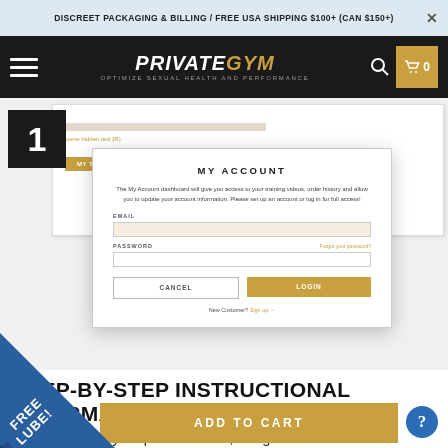DISCREET PACKAGING & BILLING / FREE USA SHIPPING $100+ (CAN $150+)
[Figure (screenshot): PrivateGym website navigation bar with hamburger menu, logo 'PRIVATEGYM - OPTIMIZE SEXUAL HEALTH AND PERFORMANCE', search icon, and cart icon showing 0 items]
[Figure (screenshot): Step 1 - My Account dialog box screenshot showing login form with email and password fields, Cancel and Login buttons, and 'New Customer? Sign up' link]
STEP-BY-STEP INSTRUCTIONAL INFORMATION
With our step-by-step instructions, our goal is to